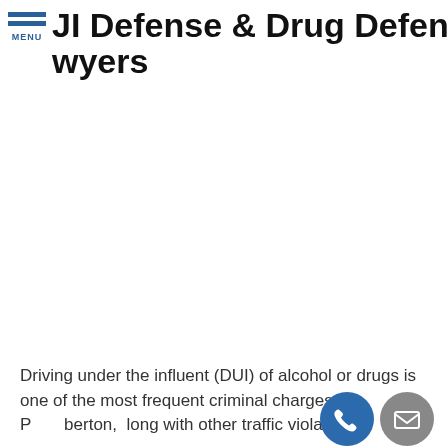JI Defense & Drug Defense wyers
Driving under the influent (DUI) of alcohol or drugs is one of the most frequent criminal charges in Pemberton, along with other traffic violations.